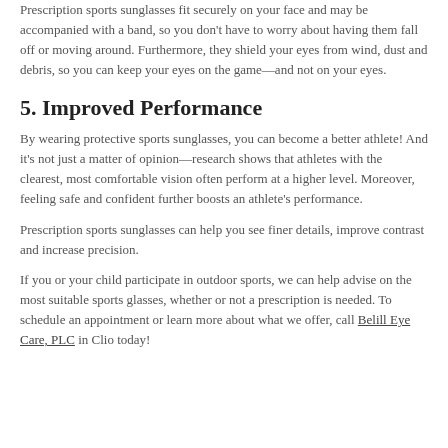Prescription sports sunglasses fit securely on your face and may be accompanied with a band, so you don't have to worry about having them fall off or moving around. Furthermore, they shield your eyes from wind, dust and debris, so you can keep your eyes on the game—and not on your eyes.
5. Improved Performance
By wearing protective sports sunglasses, you can become a better athlete! And it's not just a matter of opinion—research shows that athletes with the clearest, most comfortable vision often perform at a higher level. Moreover, feeling safe and confident further boosts an athlete's performance.
Prescription sports sunglasses can help you see finer details, improve contrast and increase precision.
If you or your child participate in outdoor sports, we can help advise on the most suitable sports glasses, whether or not a prescription is needed. To schedule an appointment or learn more about what we offer, call Belill Eye Care, PLC in Clio today!